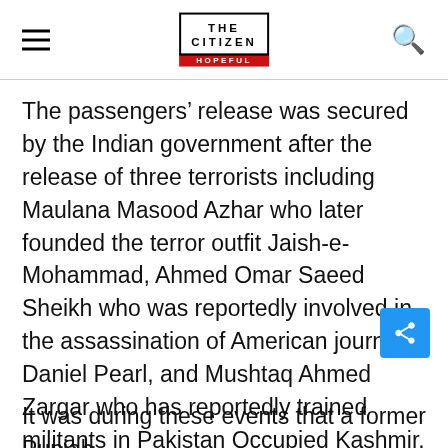THE CITIZEN IS HOPEFUL
The passengers’ release was secured by the Indian government after the release of three terrorists including Maulana Masood Azhar who later founded the terror outfit Jaish-e-Mohammad, Ahmed Omar Saeed Sheikh who was reportedly involved in the assassination of American journalist Daniel Pearl, and Mushtaq Ahmed Zargar who has reportedly trained militants in Pakistan Occupied Kashmir.
It was during these events that a former Punjab